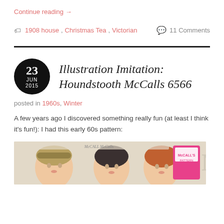Continue reading →
1908 house, Christmas Tea, Victorian   11 Comments
Illustration Imitation: Houndstooth McCalls 6566
posted in 1960s, Winter
A few years ago I discovered something really fun (at least I think it's fun!): I had this early 60s pattern:
[Figure (photo): Vintage McCalls sewing pattern envelope showing illustrated women's heads with 1960s hairstyles and a pink McCalls label]